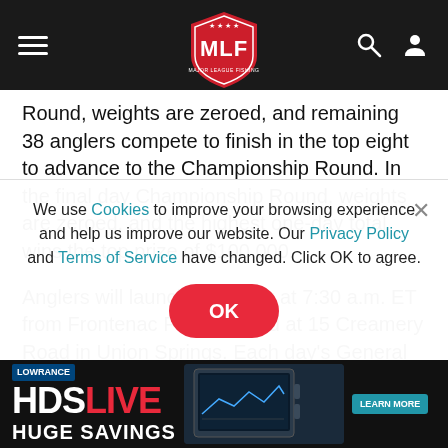MLF Major League Fishing navigation header
Round, weights are zeroed, and remaining 38 anglers compete to finish in the top eight to advance to the Championship Round. In the final day Championship Round, weights are zeroed, and the highest one-day total wins the top prize of $100,000.

Anglers will launch each day at 7:30 a.m. ET from Frontenac Park, located at 15 Creamery Road in Union Springs. Each day's General Tire Takeout will be held at the park, beginning at 4
We use Cookies to improve your browsing experience and help us improve our website. Our Privacy Policy and Terms of Service have changed. Click OK to agree.
[Figure (screenshot): Lowrance HDS LIVE advertisement banner with device image and LEARN MORE button]